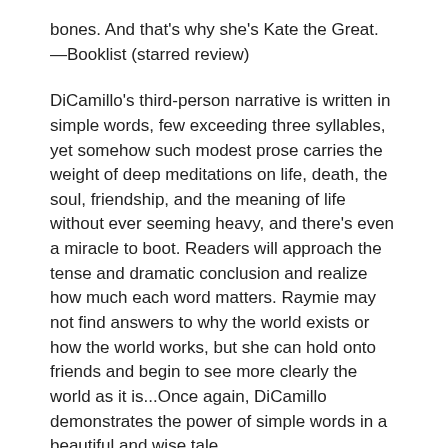bones. And that's why she's Kate the Great.
—Booklist (starred review)
DiCamillo's third-person narrative is written in simple words, few exceeding three syllables, yet somehow such modest prose carries the weight of deep meditations on life, death, the soul, friendship, and the meaning of life without ever seeming heavy, and there's even a miracle to boot. Readers will approach the tense and dramatic conclusion and realize how much each word matters. Raymie may not find answers to why the world exists or how the world works, but she can hold onto friends and begin to see more clearly the world as it is...Once again, DiCamillo demonstrates the power of simple words in a beautiful and wise tale.
—Kirkus Reviews (starred review)
With extraordinary skill, two-time Newbery Medalist DiCamillo traces the girls' growing trust in each other